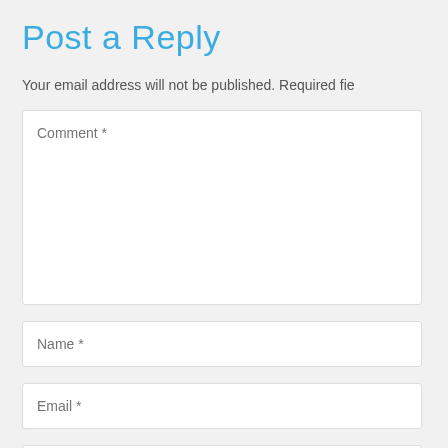Post a Reply
Your email address will not be published. Required fie
Comment *
Name *
Email *